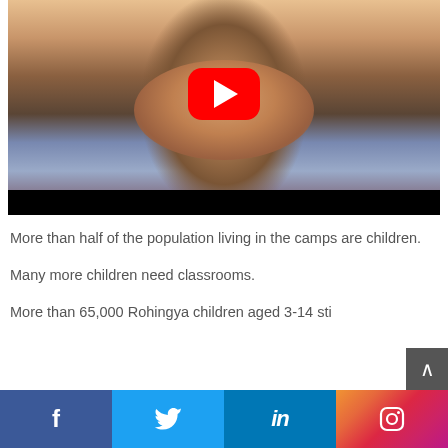[Figure (photo): A smiling child wearing a backpack, YouTube play button overlay, video thumbnail with black bar at bottom]
More than half of the population living in the camps are children.
Many more children need classrooms.
More than 65,000 Rohingya children aged 3-14 sti
[Figure (infographic): Social media share bar with Facebook, Twitter, LinkedIn, and Instagram buttons]